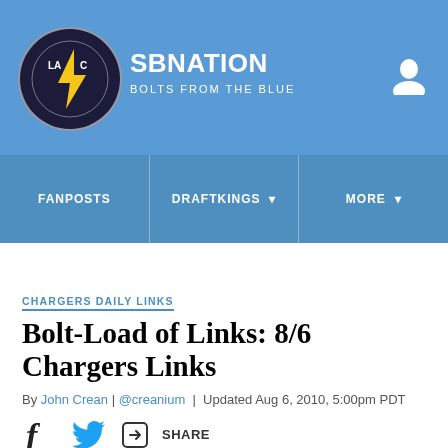SBNATION — BOLTS FROM THE BLUE
CHARGERS DAILY LINKS
Bolt-Load of Links: 8/6 Chargers Links
By John Crean | @creanium | Updated Aug 6, 2010, 5:00pm PDT
SHARE
Listen to this article